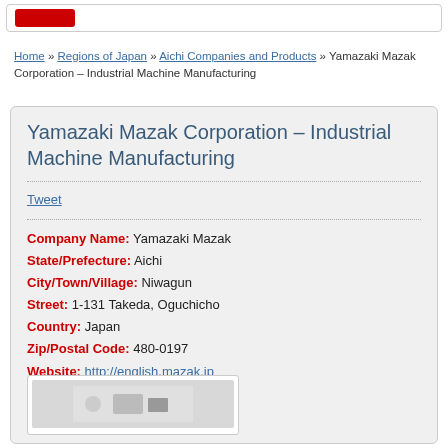[red button bar]
Home » Regions of Japan » Aichi Companies and Products » Yamazaki Mazak Corporation – Industrial Machine Manufacturing
Yamazaki Mazak Corporation – Industrial Machine Manufacturing
Tweet
Company Name: Yamazaki Mazak
State/Prefecture: Aichi
City/Town/Village: Niwagun
Street: 1-131 Takeda, Oguchicho
Country: Japan
Zip/Postal Code: 480-0197
Website: http://english.mazak.jp
Listed: 06/12/2013 10:46 pm
Expires: This ad has expired
[Figure (photo): Company image thumbnail at bottom of page]